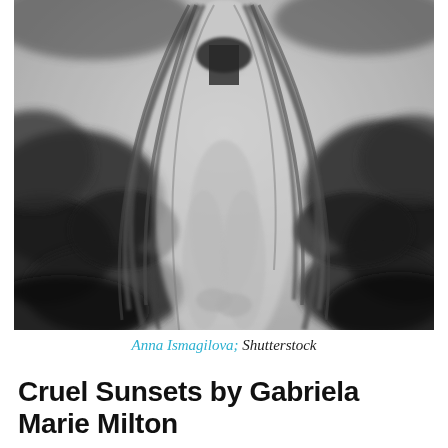[Figure (illustration): Black and white watercolor or ink illustration of a woman with long flowing hair, wearing a dark top, surrounded by dark foliage/tree shapes in the background. The figure is shown from approximately the neck down, with hair cascading over her shoulders.]
Anna Ismagilova; Shutterstock
Cruel Sunsets by Gabriela Marie Milton